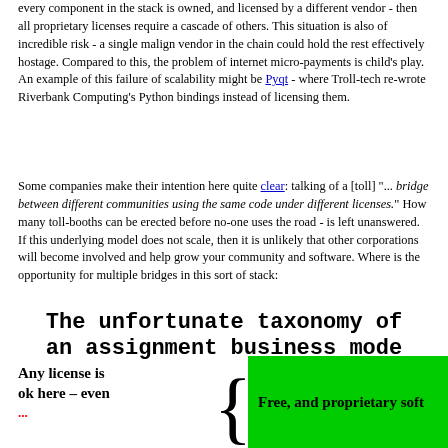every component in the stack is owned, and licensed by a different vendor - then all proprietary licenses require a cascade of others. This situation is also of incredible risk - a single malign vendor in the chain could hold the rest effectively hostage. Compared to this, the problem of internet micro-payments is child's play. An example of this failure of scalability might be Pyqt - where Troll-tech re-wrote Riverbank Computing's Python bindings instead of licensing them.
Some companies make their intention here quite clear: talking of a [toll] "... bridge between different communities using the same code under different licenses." How many toll-booths can be erected before no-one uses the road - is left unanswered. If this underlying model does not scale, then it is unlikely that other corporations will become involved and help grow your community and software. Where is the opportunity for multiple bridges in this sort of stack:
The unfortunate taxonomy of an assignment business mode
Any license is ok here – even ...
Free, and proprietary soft